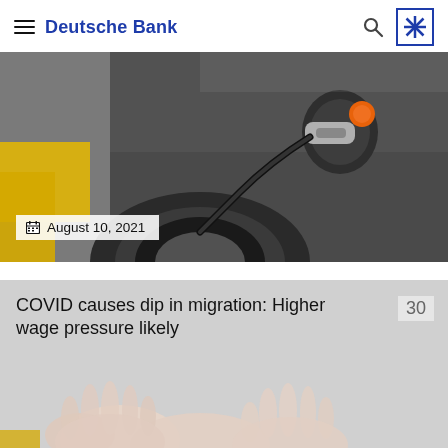Deutsche Bank
[Figure (photo): Close-up photo of an electric vehicle charging port with a charging cable plugged in, orange connector visible, yellow background element on the left, dark grey car body.]
August 10, 2021
COVID causes dip in migration: Higher wage pressure likely
30
[Figure (photo): Close-up photo of two pairs of pale hands resting on a grey surface.]